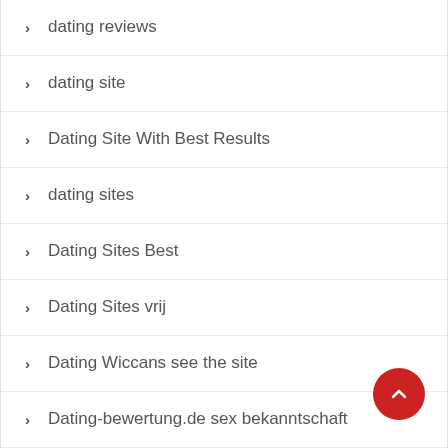dating reviews
dating site
Dating Site With Best Results
dating sites
Dating Sites Best
Dating Sites vrij
Dating Wiccans see the site
Dating-bewertung.de sex bekanntschaft
Dating-bewertung.de urlaub bekanntschaft
Dating.Com app seiten
dating.com S'inscrire
dating4disabled reviews
dating4disabled S'inscrire
Dating4disabled visitors
Dating4disabled zit